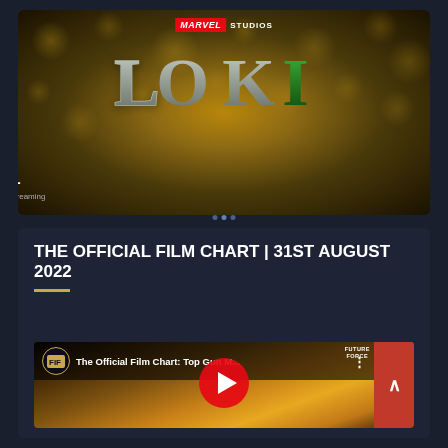[Figure (screenshot): Marvel Studios Loki series promotional image showing the LOKI title logo on a bokeh golden background with MISS MINUTES text and Disney+ Original Series Now Streaming branding]
THE OFFICIAL FILM CHART | 31ST AUGUST 2022
[Figure (screenshot): YouTube video thumbnail for 'The Official Film Chart: Top Gun M...' showing a person in a flight suit with aircraft and a red YouTube play button, with channel icon and Future Force branding]